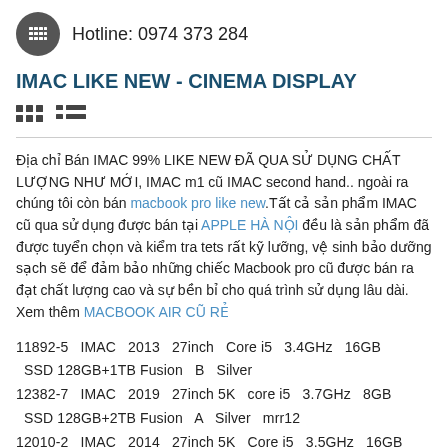Hotline: 0974 373 284
IMAC LIKE NEW - CINEMA DISPLAY
[Figure (infographic): Grid icon and list icon toggle buttons]
Địa chỉ Bán IMAC 99% LIKE NEW ĐÃ QUA SỬ DỤNG CHẤT LƯỢNG NHƯ MỚI, IMAC m1 cũ IMAC second hand.. ngoài ra chúng tôi còn bán macbook pro like new.Tất cả sản phẩm IMAC cũ qua sử dụng được bán tại APPLE HÀ NỘI đều là sản phẩm đã được tuyển chọn và kiểm tra tets rất kỹ lưỡng, vệ sinh bảo dưỡng sạch sẽ để đảm bảo những chiếc Macbook pro cũ được bán ra đạt chất lượng cao và sự bền bỉ cho quá trình sử dụng lâu dài. Xem thêm MACBOOK AIR CŨ RẺ
11892-5  IMAC  2013  27inch  Core i5  3.4GHz  16GB  SSD 128GB+1TB Fusion  B  Silver
12382-7  IMAC  2019  27inch 5K  core i5  3.7GHz  8GB  SSD 128GB+2TB Fusion  A  Silver  mrr12
12010-2  IMAC  2014  27inch 5K  Core i5  3.5GHz  16GB  SSD 128GB+1TB Fusion  B  Silver